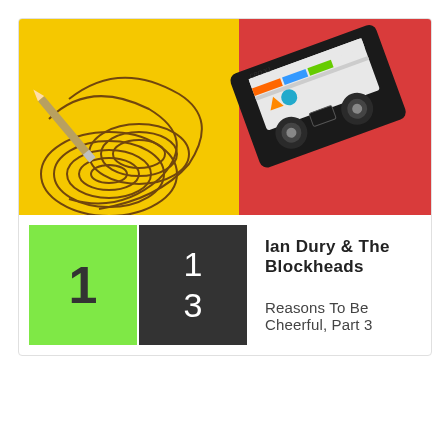[Figure (photo): A cassette tape with magnetic tape spilled out on a yellow and red background]
1
1
3
Ian Dury & The Blockheads
Reasons To Be Cheerful, Part 3